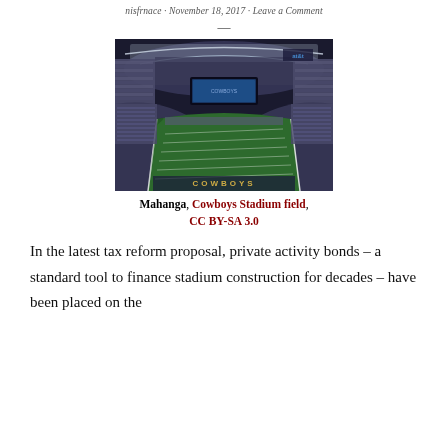nisfrnace · November 18, 2017 · Leave a Comment
[Figure (photo): Aerial interior view of Cowboys Stadium (now AT&T Stadium) filled with fans, showing the football field from above with large video screens and the distinctive arched roof structure.]
Mahanga, Cowboys Stadium field, CC BY-SA 3.0
In the latest tax reform proposal, private activity bonds – a standard tool to finance stadium construction for decades – have been placed on the